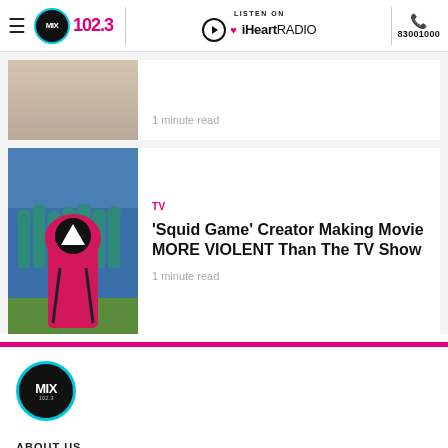MIX 102.3 | LISTEN ON iHeartRADIO | 83001000
[Figure (photo): Partial article card with image at top, cropped]
1 minute read
[Figure (photo): Squid Game article card with masked character in pink/red hoodie facing contestants]
TV
'Squid Game' Creator Making Movie MORE VIOLENT Than The TV Show
1 minute read
[Figure (logo): MIX 102.3 circular logo in footer]
ABOUT US